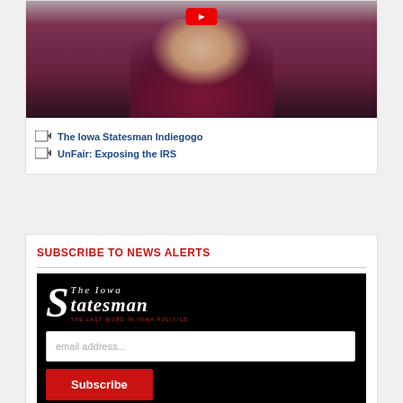[Figure (screenshot): Video thumbnail showing a man with gray beard wearing a dark red/maroon striped shirt, with a red YouTube-style play button at the top]
The Iowa Statesman Indiegogo
UnFair: Exposing the IRS
SUBSCRIBE TO NEWS ALERTS
[Figure (logo): The Iowa Statesman logo in white text on black background with tagline 'The Last Word in Iowa Politics']
email address...
Subscribe